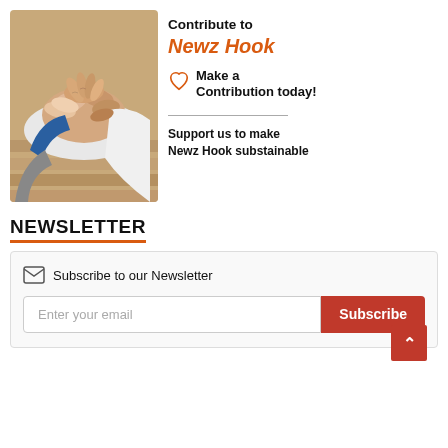[Figure (photo): Multiple hands stacked together in a gesture of teamwork/contribution]
Contribute to Newz Hook
Make a Contribution today!
Support us to make Newz Hook substainable
NEWSLETTER
Subscribe to our Newsletter
Enter your email
Subscribe